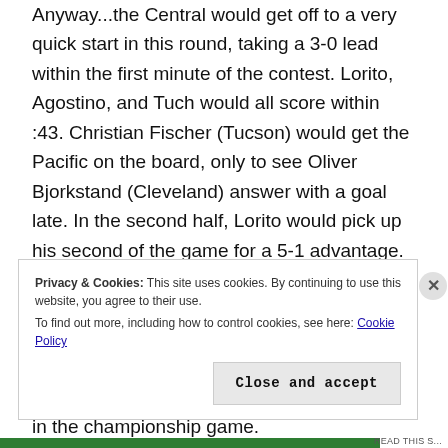Anyway...the Central would get off to a very quick start in this round, taking a 3-0 lead within the first minute of the contest. Lorito, Agostino, and Tuch would all score within :43. Christian Fischer (Tucson) would get the Pacific on the board, only to see Oliver Bjorkstand (Cleveland) answer with a goal late. In the second half, Lorito would pick up his second of the game for a 5-1 advantage. Wood and O'Regan would pick up goals, but it was too little too late. Leighton and Forsberg combined to stop 9 of 12 shots. Grosenick and Campbell would only save 2 of 7. With the win, the Central clinched a spot in the championship game.
Privacy & Cookies: This site uses cookies. By continuing to use this website, you agree to their use.
To find out more, including how to control cookies, see here: Cookie Policy
Close and accept